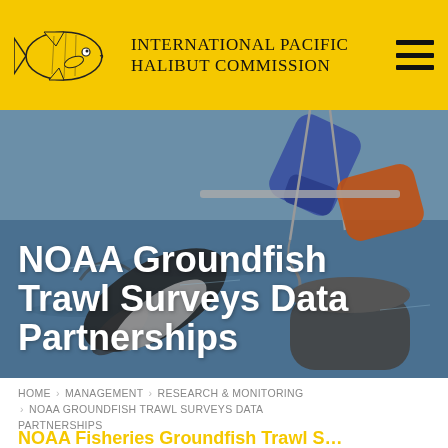International Pacific Halibut Commission
[Figure (photo): Close-up photo of fishermen handling a large fish (halibut) on a boat, with gloved hands holding hooks and equipment over the water.]
NOAA Groundfish Trawl Surveys Data Partnerships
HOME > MANAGEMENT > RESEARCH & MONITORING > NOAA GROUNDFISH TRAWL SURVEYS DATA PARTNERSHIPS
NOAA Fisheries Groundfish Trawl S...